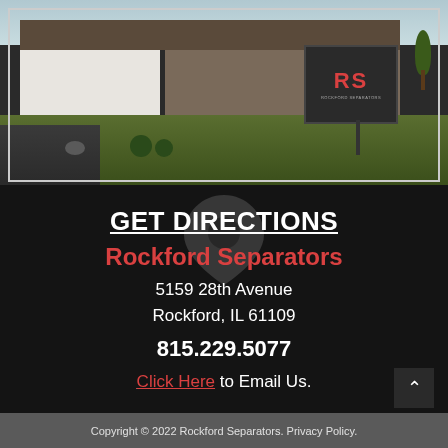[Figure (photo): Exterior photo of Rockford Separators building with lawn, driveway, shrubs, and company sign displaying 'RS Rockford Separators']
GET DIRECTIONS
Rockford Separators
5159 28th Avenue
Rockford, IL 61109
815.229.5077
Click Here to Email Us.
Copyright © 2022 Rockford Separators. Privacy Policy.